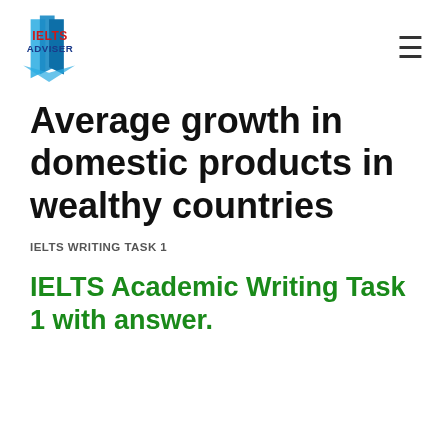IELTS ADVISER
Average growth in domestic products in wealthy countries
IELTS WRITING TASK 1
IELTS Academic Writing Task 1 with answer.